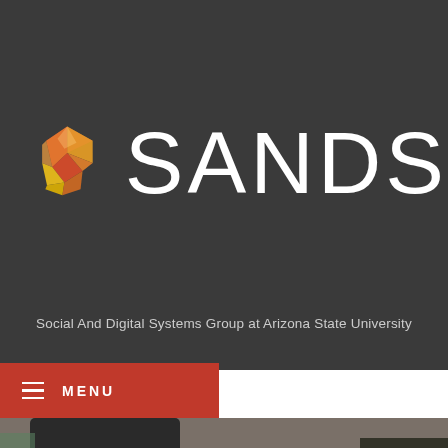[Figure (logo): SANDS group logo - geometric faceted gem shape in orange, coral, and yellow tones, with text 'SANDS' in large white letters]
Social And Digital Systems Group at Arizona State University
MENU
[Figure (photo): Workshop photo showing two people working with woodworking tools and a blue machine on a worktable in a lab/makerspace setting. One person wears an Arizona State University shirt.]
[Figure (photo): Partial view of a light wooden surface at the bottom of the page]